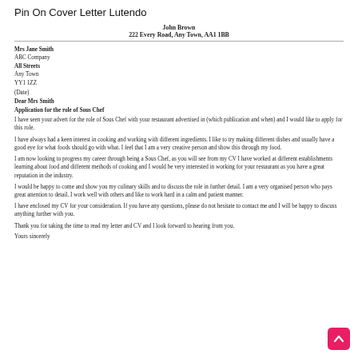Pin On Cover Letter Lutendo
John Brown
222 Every Road, Any Town, AA1 1BB
Mrs Jane Smith
ABC Company
All Streets
Any Town
YY1 1ZZ
(Date)
Dear Mrs Smith
Application for the role of Sous Chef
I have seen your advert for the role of Sous Chef with your restaurant advertised in (which publication and when) and I would like to apply for this role.
I have always had a keen interest in cooking and working with different ingredients. I like to try making different dishes and usually have a good eye for what foods should go with what. I feel that I am a very creative person and show this through my food.
I am now looking to progress my career through being a Sous Chef, as you will see from my CV I have worked at different establishments learning about food and different methods of cooking and I would be very interested in working for your restaurant as you have a great reputation in the industry.
I would be happy to come and show you my culinary skills and to discuss the role in further detail. I am a very organised person who pays great attention to detail. I work well with others and like to work hard in a calm and patient manner.
I have enclosed my CV for your consideration. If you have any questions, please do not hesitate to contact me and I will be happy to discuss anything further with you.
Thank you for taking the time to read my letter and CV and I look forward to hearing from you.
Yours sincerely